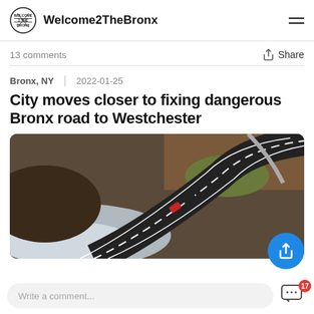Welcome2TheBronx
13 comments
Bronx, NY  2022-01-25
City moves closer to fixing dangerous Bronx road to Westchester
[Figure (photo): Aerial view of a curving road with snow and water alongside, cars visible on the dark asphalt road, surrounded by brown vegetation]
Write a comment...